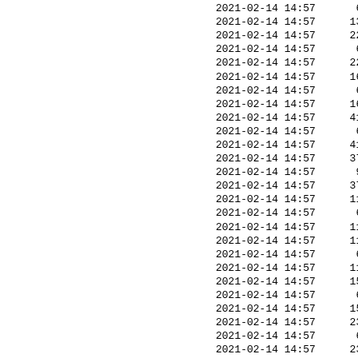| datetime | value |
| --- | --- |
| 2021-02-14 14:57 | 656 |
| 2021-02-14 14:57 | 1308 |
| 2021-02-14 14:57 | 2237 |
| 2021-02-14 14:57 | 684 |
| 2021-02-14 14:57 | 2237 |
| 2021-02-14 14:57 | 1673 |
| 2021-02-14 14:57 | 663 |
| 2021-02-14 14:57 | 1673 |
| 2021-02-14 14:57 | 4156 |
| 2021-02-14 14:57 | 654 |
| 2021-02-14 14:57 | 4156 |
| 2021-02-14 14:57 | 3797 |
| 2021-02-14 14:57 | 918 |
| 2021-02-14 14:57 | 3797 |
| 2021-02-14 14:57 | 1198 |
| 2021-02-14 14:57 | 645 |
| 2021-02-14 14:57 | 1198 |
| 2021-02-14 14:57 | 1192 |
| 2021-02-14 14:57 | 642 |
| 2021-02-14 14:57 | 1192 |
| 2021-02-14 14:57 | 1536 |
| 2021-02-14 14:57 | 619 |
| 2021-02-14 14:57 | 1536 |
| 2021-02-14 14:57 | 2379 |
| 2021-02-14 14:57 | 645 |
| 2021-02-14 14:57 | 2379 |
| 2021-02-14 14:57 | 1750 |
| 2021-02-14 14:57 | 642 |
| 2021-02-14 14:57 | 1750 |
| 2021-02-14 14:57 | 1506 |